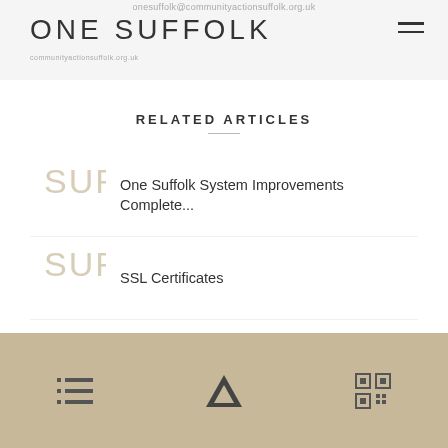onesuffolk@communityactionsuffolk.org.uk
ONE SUFFOLK
RELATED ARTICLES
One Suffolk System Improvements Complete...
SSL Certificates
Coronavirus Customer Update
One Suffolk Website Training...
Navigation icons: list, road/text, QR code